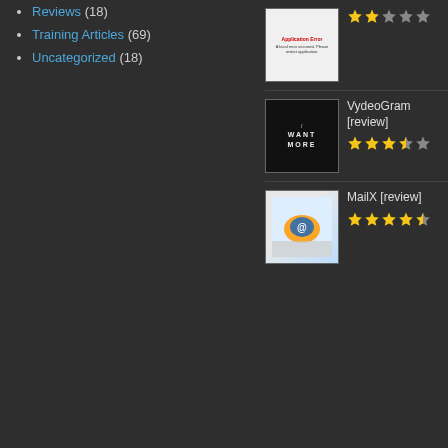Reviews (18)
Training Articles (69)
Uncategorized (18)
[Figure (screenshot): Thumbnail showing application error screen with white background and error text]
[Figure (illustration): Star rating: 2 out of 5 stars (gold filled, rest grey)]
VydeoGram [review]
[Figure (screenshot): Thumbnail showing dark background with text: I WANT MORE]
[Figure (illustration): Star rating: 3.5 out of 5 stars]
MailX [review]
[Figure (screenshot): Thumbnail showing keyboard with colorful swirl/email icon]
[Figure (illustration): Star rating: 4 out of 5 stars]